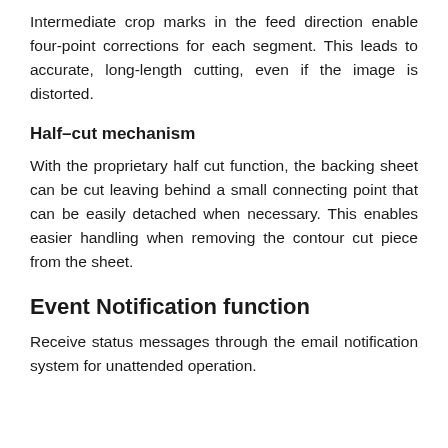Intermediate crop marks in the feed direction enable four-point corrections for each segment. This leads to accurate, long-length cutting, even if the image is distorted.
Half-cut mechanism
With the proprietary half cut function, the backing sheet can be cut leaving behind a small connecting point that can be easily detached when necessary. This enables easier handling when removing the contour cut piece from the sheet.
Event Notification function
Receive status messages through the email notification system for unattended operation.